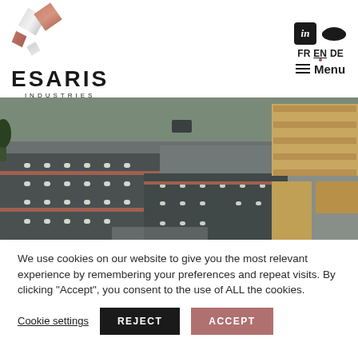[Figure (logo): ESARIS INDUSTRIES logo with geometric diamond shapes in copper/silver tones]
[Figure (photo): Aerial view of ESARIS Industries industrial facility with warehouse rooftops and stacked timber/lumber in the yard]
We use cookies on our website to give you the most relevant experience by remembering your preferences and repeat visits. By clicking “Accept”, you consent to the use of ALL the cookies.
Cookie settings  REJECT  ACCEPT